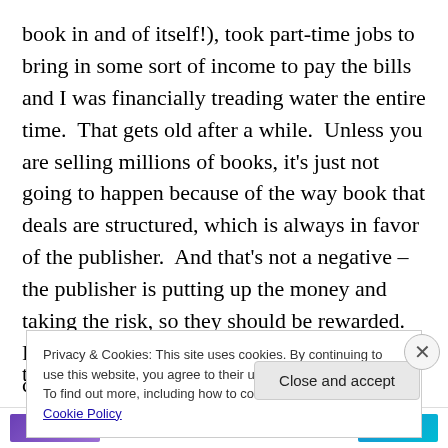book in and of itself!), took part-time jobs to bring in some sort of income to pay the bills and I was financially treading water the entire time.  That gets old after a while.  Unless you are selling millions of books, it's just not going to happen because of the way book that deals are structured, which is always in favor of the publisher.  And that's not a negative – the publisher is putting up the money and taking the risk, so they should be rewarded.  For example, a typical hardback book will cost somewhere in the neighborhood of $5 to produce.  The publisher sells that to the wholesaler/retailer somewhere in the range of
Privacy & Cookies: This site uses cookies. By continuing to use this website, you agree to their use.
To find out more, including how to control cookies, see here: Cookie Policy
Close and accept